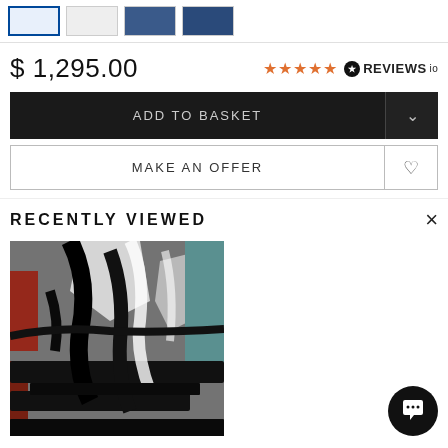[Figure (screenshot): Thumbnail strip at top showing product image thumbnails, first one highlighted with blue border]
$ 1,295.00
★★★★★ REVIEWS.io
ADD TO BASKET
MAKE AN OFFER
RECENTLY VIEWED
[Figure (photo): Abstract painting with bold black brushstrokes over white and grey background with hints of red and blue]